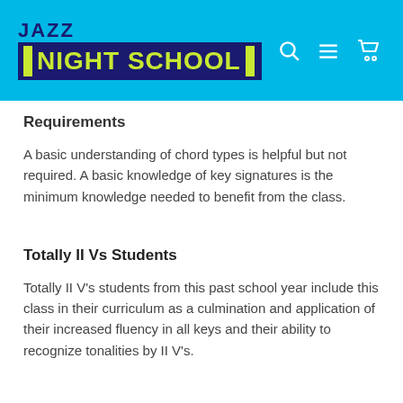Jazz Night School
Requirements
A basic understanding of chord types is helpful but not required. A basic knowledge of key signatures is the minimum knowledge needed to benefit from the class.
Totally II Vs Students
Totally II V's students from this past school year include this class in their curriculum as a culmination and application of their increased fluency in all keys and their ability to recognize tonalities by II V's.